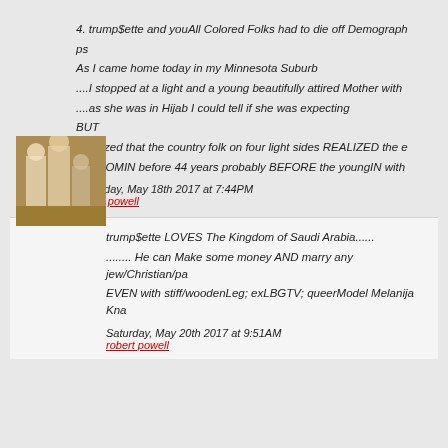4. trump$ette and youAll Colored Folks had to die off Demographi...
ps

As I came home today in my Minnesota Suburb

....I stopped at a light and a young beautifully attired Mother with

....as she was in Hijab I could tell if she was expecting

BUT

I realized that the country folk on four light sides REALIZED the e...

is a COMIN before 44 years probably BEFORE the youngIN with...
Thursday, May 18th 2017 at 7:44PM
robert powell
[Figure (photo): Small avatar photo showing two or three people]
trump$ette LOVES The Kingdom of Saudi Arabia......

........ He can Make some money AND marry any jew/Christian/pa...

EVEN with stiff/woodenLeg; exLBGTV; queerModel Melanija Kna...

Saturday, May 20th 2017 at 9:51AM
robert powell